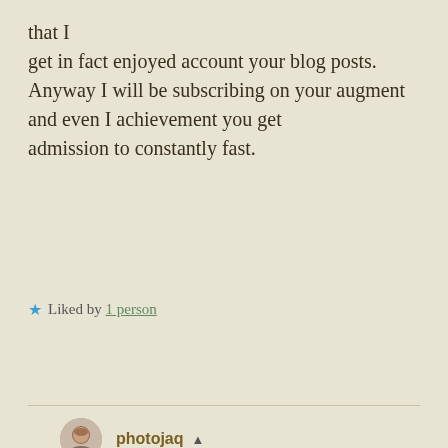that I get in fact enjoyed account your blog posts. Anyway I will be subscribing on your augment and even I achievement you get admission to constantly fast.
★ Liked by 1 person
Reply
photojaq ▲
April 3, 2020 at 12:54 pm
Welcome, News. Please do subscribe. We post every Wednesday!